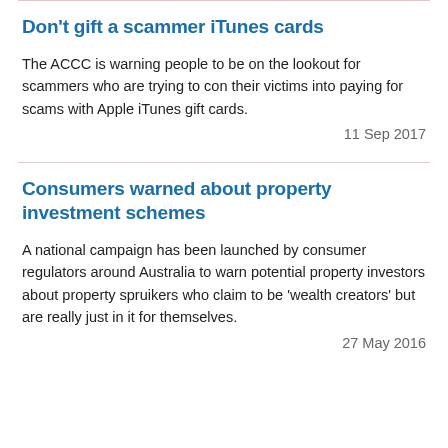Don't gift a scammer iTunes cards
The ACCC is warning people to be on the lookout for scammers who are trying to con their victims into paying for scams with Apple iTunes gift cards.
11 Sep 2017
Consumers warned about property investment schemes
A national campaign has been launched by consumer regulators around Australia to warn potential property investors about property spruikers who claim to be 'wealth creators' but are really just in it for themselves.
27 May 2016